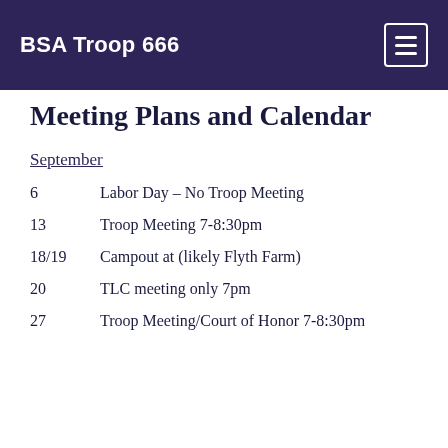BSA Troop 666
Meeting Plans and Calendar
September
6    Labor Day – No Troop Meeting
13    Troop Meeting 7-8:30pm
18/19  Campout at (likely Flyth Farm)
20    TLC meeting only 7pm
27    Troop Meeting/Court of Honor 7-8:30pm